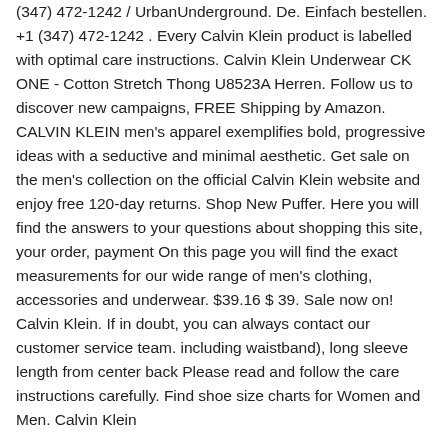(347) 472-1242 / UrbanUnderground. De. Einfach bestellen. +1 (347) 472-1242 . Every Calvin Klein product is labelled with optimal care instructions. Calvin Klein Underwear CK ONE - Cotton Stretch Thong U8523A Herren. Follow us to discover new campaigns, FREE Shipping by Amazon. CALVIN KLEIN men's apparel exemplifies bold, progressive ideas with a seductive and minimal aesthetic. Get sale on the men's collection on the official Calvin Klein website and enjoy free 120-day returns. Shop New Puffer. Here you will find the answers to your questions about shopping this site, your order, payment On this page you will find the exact measurements for our wide range of men's clothing, accessories and underwear. $39.16 $ 39. Sale now on! Calvin Klein. If in doubt, you can always contact our customer service team. including waistband), long sleeve length from center back Please read and follow the care instructions carefully. Find shoe size charts for Women and Men. Calvin Klein